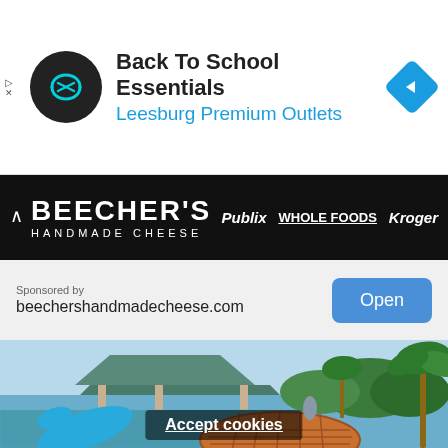[Figure (screenshot): Ad banner for Back To School Essentials at Leesburg Premium Outlets with circular black logo and blue navigation diamond icon]
Back To School Essentials
Leesburg Premium Outlets
[Figure (logo): Beecher's Handmade Cheese logo on black background with Publix, Whole Foods, Kroger store logos]
Sponsored by
beechershandmadecheese.com
[Figure (photo): Tropical resort poolside scene with pavilion, palm trees, ocean view, blue toy dolphin, and stroopwafel cookies in foreground]
Accept cookies